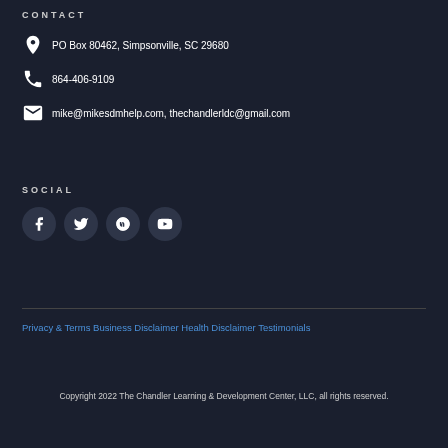CONTACT
PO Box 80462, Simpsonville, SC 29680
864-406-9109
mike@mikesdmhelp.com, thechandlerldc@gmail.com
SOCIAL
[Figure (illustration): Four social media icon buttons: Facebook, Twitter, Pinterest, YouTube]
Privacy & Terms  Business Disclaimer  Health Disclaimer  Testimonials
Copyright 2022 The Chandler Learning & Development Center, LLC, all rights reserved.